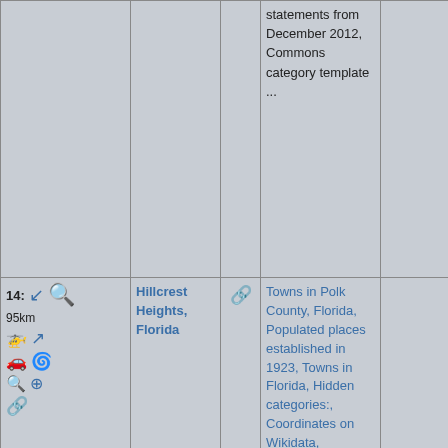| Controls | Name | Link | Categories | Extra |
| --- | --- | --- | --- | --- |
|  |  |  | statements from December 2012, Commons category template ... |  |
| 14: 95km [icons] | Hillcrest Heights, Florida | [link] | Towns in Polk County, Florida, Populated places established in 1923, Towns in Florida, Hidden categories:, Coordinates on Wikidata, |  |
| 15: 95.7km [icons] | Lake Hamilton, Florida | [link] | Towns in Polk County, Florida, Towns in Florida, |  |